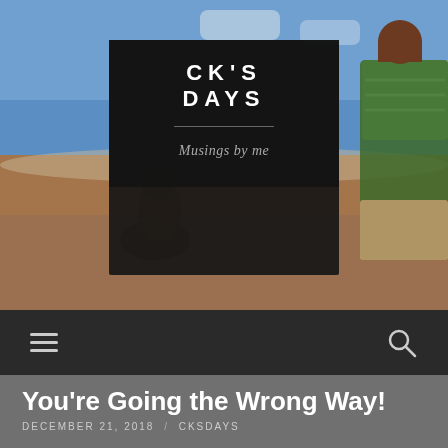[Figure (illustration): Blog header image showing a textile or knitted artwork with figures near a beach. Blue sky and water in the background, brown textured ground, a figure on the left in brown tones and a figure on the right in a green patterned sweater. Semi-transparent dark overlay box centered in the upper portion containing the blog title and tagline.]
CK'S DAYS
Musings by me
[Figure (other): Dark navigation bar with hamburger menu icon (three horizontal lines) on the left and a search/magnifying glass icon on the right]
You're Going the Wrong Way!
DECEMBER 21, 2018 / CKSDAYS